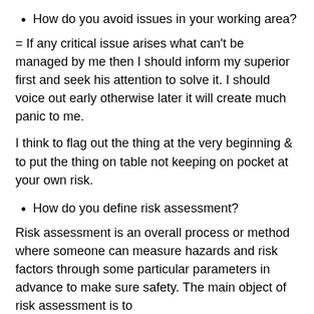How do you avoid issues in your working area?
= If any critical issue arises what can't be managed by me then I should inform my superior first and seek his attention to solve it. I should voice out early otherwise later it will create much panic to me.
I think to flag out the thing at the very beginning & to put the thing on table not keeping on pocket at your own risk.
How do you define risk assessment?
Risk assessment is an overall process or method where someone can measure hazards and risk factors through some particular parameters in advance to make sure safety. The main object of risk assessment is to